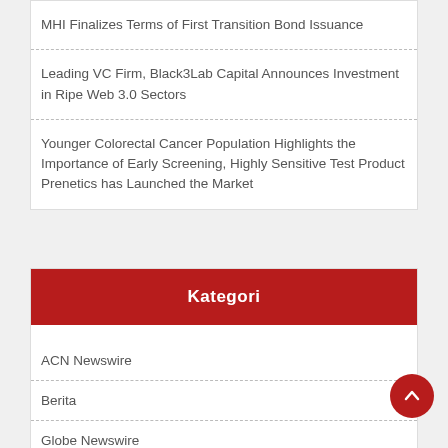MHI Finalizes Terms of First Transition Bond Issuance
Leading VC Firm, Black3Lab Capital Announces Investment in Ripe Web 3.0 Sectors
Younger Colorectal Cancer Population Highlights the Importance of Early Screening, Highly Sensitive Test Product Prenetics has Launched the Market
Kategori
ACN Newswire
Berita
Globe Newswire